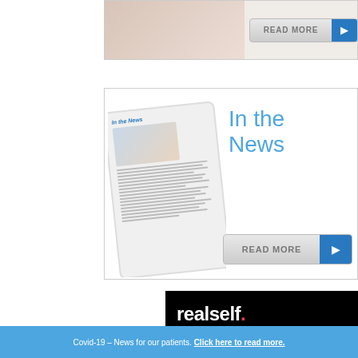[Figure (photo): Top banner with body image and READ MORE button]
[Figure (infographic): In the News section with tablet image showing newsletter content, large blue 'In the News' heading, and READ MORE button]
[Figure (logo): RealSelf logo on black background bar]
SHARE YOUR REVIEW
Covid-19 – News for our patients. Click here to read more.